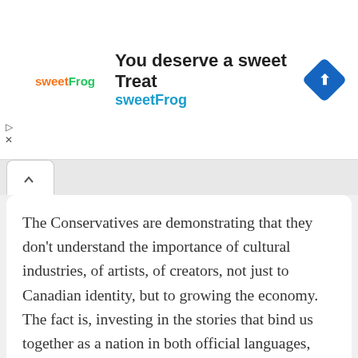[Figure (infographic): sweetFrog advertisement banner with logo, text 'You deserve a sweet Treat', 'sweetFrog' subtitle in teal, and a blue diamond navigation icon on the right]
The Conservatives are demonstrating that they don't understand the importance of cultural industries, of artists, of creators, not just to Canadian identity, but to growing the economy. The fact is, investing in the stories that bind us together as a nation in both official languages, ensuring that Canadians understand each other's lives and experiences is at the heart of the mandate of the CBC.
[Figure (infographic): Social share buttons row: Facebook (blue circle), WhatsApp (green circle), Reddit (orange circle), Twitter (blue circle), and a bookmark icon with count '0' on the right]